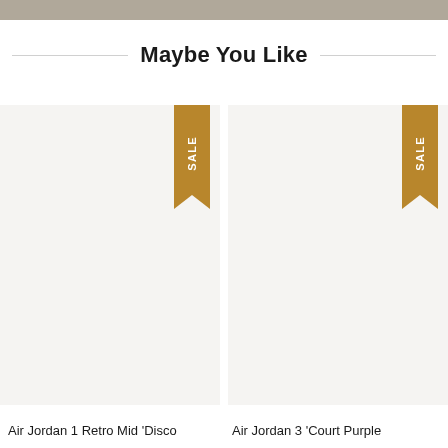[Figure (photo): Partial top image strip showing a cropped product or lifestyle photo]
Maybe You Like
[Figure (photo): Product card for Air Jordan 1 Retro Mid Disco with SALE badge]
[Figure (photo): Product card for Air Jordan 3 Court Purple with SALE badge]
Air Jordan 1 Retro Mid 'Disco
Air Jordan 3 'Court Purple